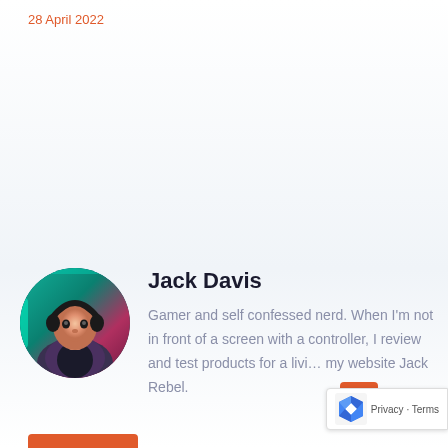28 April 2022
[Figure (photo): Circular avatar photo of Jack Davis, a young man wearing headphones, with a colorful gaming-themed background in green and pink/purple tones.]
Jack Davis
Gamer and self confessed nerd. When I'm not in front of a screen with a controller, I review and test products for a living on my website Jack Rebel.